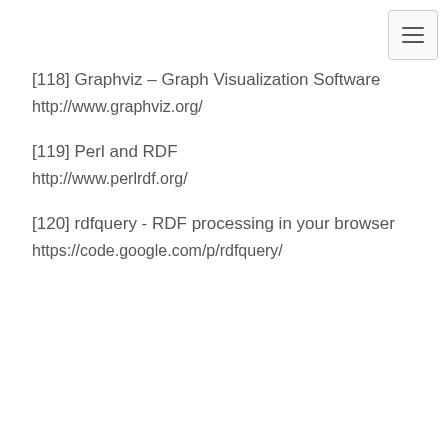[118] Graphviz – Graph Visualization Software
http://www.graphviz.org/
[119] Perl and RDF
http://www.perlrdf.org/
[120] rdfquery - RDF processing in your browser
https://code.google.com/p/rdfquery/